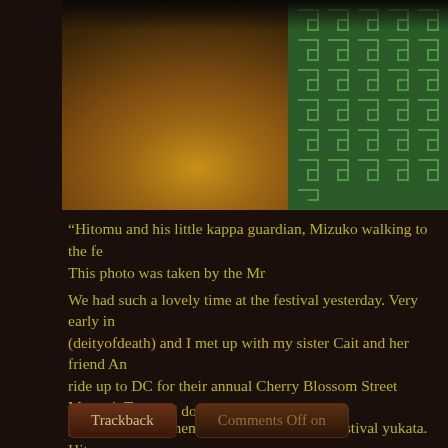[Figure (photo): Photograph showing figures in festival attire (yukata) with a green patterned fabric visible on the right side, autumn leaves on the ground, dark moody lighting]
“Hitomu and his little kappa guardian, Mizuko walking to the fe... This photo was taken by the Mr
We had such a lovely time at the festival yesterday. Very early in... (deityofdeath) and I met up with my sister Cait and her friend An... ride up to DC for their annual Cherry Blossom Street Matsuri. T... poo but dressed them up in their best little festival yukata. Hito v... Muffin and Mizuko wore a girls yukata that I purchased one yea... girls yukata. I’m not explaining why just yet. I need to make him... needs to be a bit worn and aged looking. Once it’s made, then I’l... wear a boy’s style obi which I plan on keeping.
More festival and doll meet talk: More»
Trackback
Comments Off on